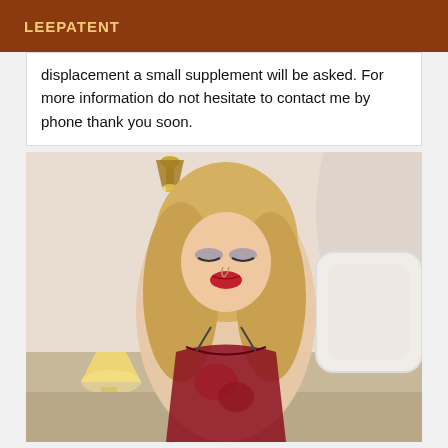LEEPATENT
displacement a small supplement will be asked. For more information do not hesitate to contact me by phone thank you soon.
[Figure (photo): Photo of a blonde woman in lingerie posing in a bedroom setting with a lamp and ornate bed visible in background]